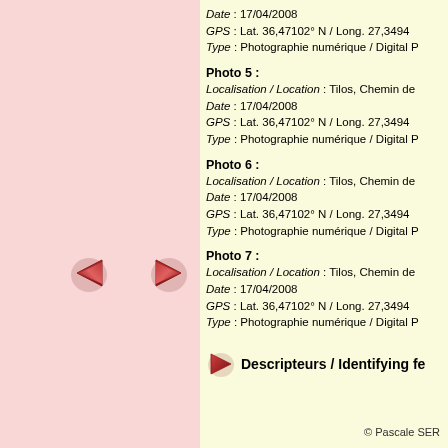[Figure (illustration): Pink left panel with left-pointing and right-pointing red triangle arrows]
Date : 17/04/2008
GPS : Lat. 36,47102° N / Long. 27,3494
Type : Photographie numérique / Digital P
Photo 5 :
Localisation / Location : Tilos, Chemin de
Date : 17/04/2008
GPS : Lat. 36,47102° N / Long. 27,3494
Type : Photographie numérique / Digital P
Photo 6 :
Localisation / Location : Tilos, Chemin de
Date : 17/04/2008
GPS : Lat. 36,47102° N / Long. 27,3494
Type : Photographie numérique / Digital P
Photo 7 :
Localisation / Location : Tilos, Chemin de
Date : 17/04/2008
GPS : Lat. 36,47102° N / Long. 27,3494
Type : Photographie numérique / Digital P
Descripteurs / Identifying fe
© Pascale SER